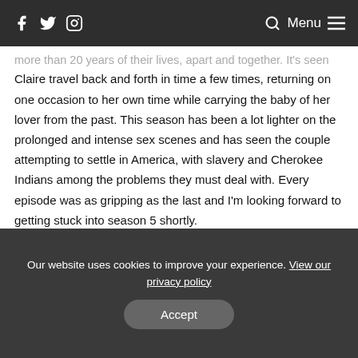f 🐦 📷  🔍 Menu ☰
more than 20 years of their lives, apart and together. It's seen Claire travel back and forth in time a few times, returning on one occasion to her own time while carrying the baby of her lover from the past. This season has been a lot lighter on the prolonged and intense sex scenes and has seen the couple attempting to settle in America, with slavery and Cherokee Indians among the problems they must deal with. Every episode was as gripping as the last and I'm looking forward to getting stuck into season 5 shortly.
Our website uses cookies to improve your experience. View our privacy policy
Accept